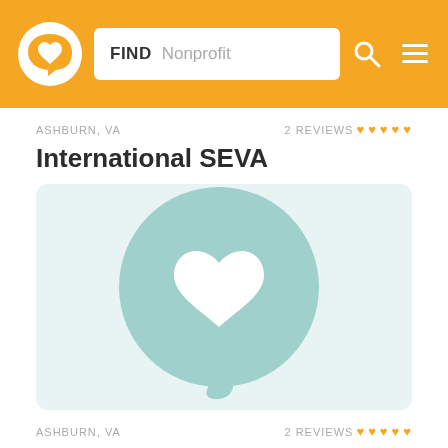FIND Nonprofit
ASHBURN, VA   2 REVIEWS ♥ ♥ ♥ ♥ ♥
International SEVA
[Figure (logo): Large teal speech-bubble logo with a white heart inside, centered on a light blue-green card background]
ASHBURN, VA   2 REVIEWS ♥ ♥ ♥ ♥ ♥